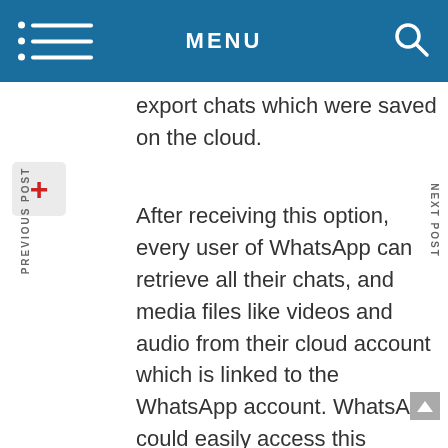MENU
export chats which were saved on the cloud.
After receiving this option, every user of WhatsApp can retrieve all their chats, and media files like videos and audio from their cloud account which is linked to the WhatsApp account. WhatsApp could easily access this feature in the settings of the app within the chat backup section.
Google Drive provides 15GB of storage for free that includes Gmail, Photos and more. With the application of this option, users can easily export files from their Drive account while making up a lot of storage space...